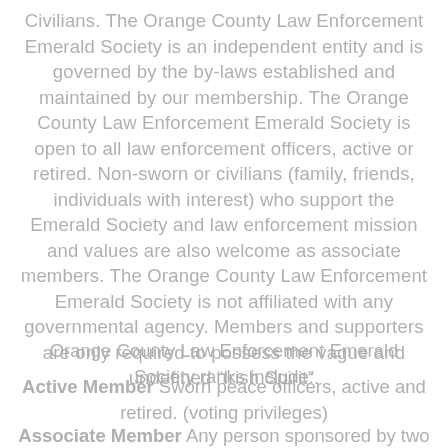Civilians. The Orange County Law Enforcement Emerald Society is an independent entity and is governed by the by-laws established and maintained by our membership. The Orange County Law Enforcement Emerald Society is open to all law enforcement officers, active or retired. Non-sworn or civilians (family, friends, individuals with interest) who support the Emerald Society and law enforcement mission and values are also welcome as associate members. The Orange County Law Enforcement Emerald Society is not affiliated with any governmental agency. Members and supporters are only required to possess the vague and undefined “Irish Spirit”.
Orange County Law Enforcement Emerald Society ranks include:
Active Member Sworn peace officers, active and retired. (voting privileges)
Associate Member Any person sponsored by two